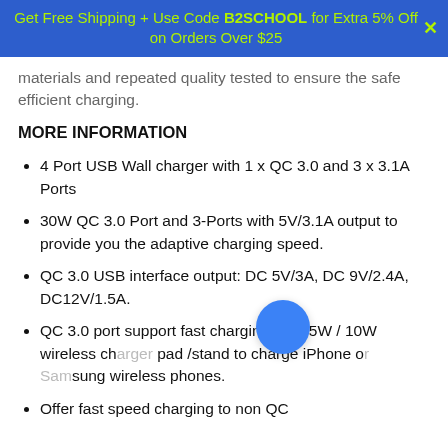Get Free Shipping + Use Code B2SCHOOL for Extra 5% Off on Orders Over $25
materials and repeated quality tested to ensure the safe efficient charging.
MORE INFORMATION
4 Port USB Wall charger with 1 x QC 3.0 and 3 x 3.1A Ports
30W QC 3.0 Port and 3-Ports with 5V/3.1A output to provide you the adaptive charging speed.
QC 3.0 USB interface output: DC 5V/3A, DC 9V/2.4A, DC12V/1.5A.
QC 3.0 port support fast charging for 7.5W / 10W wireless charger pad /stand to charge iPhone or Samsung wireless phones.
Offer fast speed charging to non QC